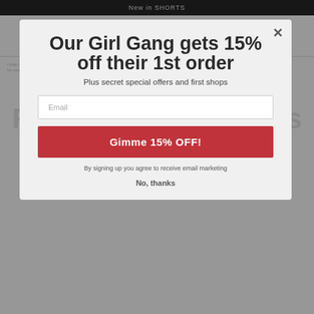New in SHORTS
Our Girl Gang gets 15% off their 1st order
Plus secret special offers and first shops
Email
Gimme 15% OFF!
By signing up you agree to receive email marketing
No, thanks
[Figure (screenshot): Lady K Loves website screenshot in background showing Returns & Exchanges Policy page, dimmed behind a modal popup]
Returns & Exchanges Policy